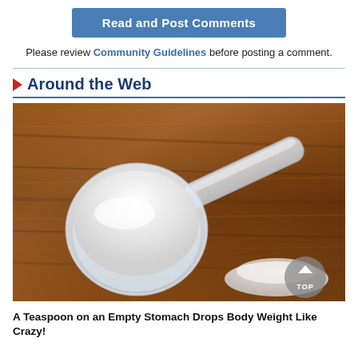Read and Post Comments
Please review Community Guidelines before posting a comment.
Around the Web
[Figure (photo): A clear plastic measuring scoop filled with white powder (likely protein powder or similar supplement) resting on a wooden surface, with a small mound of white powder beside it. A circular arrow 'TOP' button is overlaid in the bottom-right corner.]
A Teaspoon on an Empty Stomach Drops Body Weight Like Crazy!